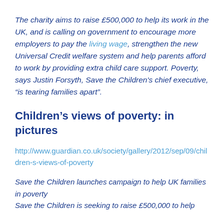The charity aims to raise £500,000 to help its work in the UK, and is calling on government to encourage more employers to pay the living wage, strengthen the new Universal Credit welfare system and help parents afford to work by providing extra child care support. Poverty, says Justin Forsyth, Save the Children's chief executive, "is tearing families apart".
Children's views of poverty: in pictures
http://www.guardian.co.uk/society/gallery/2012/sep/09/children-s-views-of-poverty
Save the Children launches campaign to help UK families in poverty
Save the Children is seeking to raise £500,000 to help